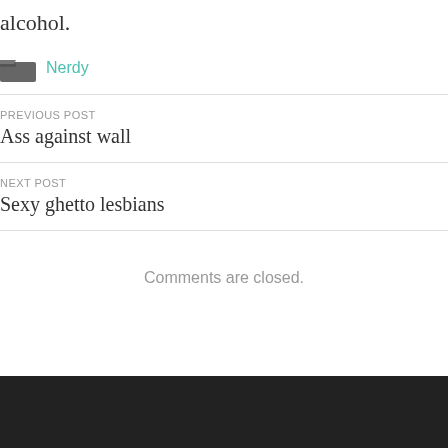alcohol.
Nerdy
PREVIOUS POST
Ass against wall
NEXT POST
Sexy ghetto lesbians
Comments are closed.